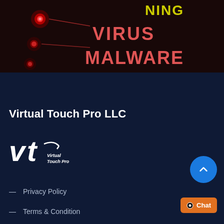[Figure (photo): Dark background with red LED lights on the left side and text reading 'WARNING VIRUS MALWARE' in pink/red and yellow letters on a dark panel]
Virtual Touch Pro LLC
[Figure (logo): Virtual Touch Pro LLC logo — stylized 'vt' letters with arrow and text 'Virtual Touch Pro' in white on dark navy background]
Privacy Policy
Terms & Condition